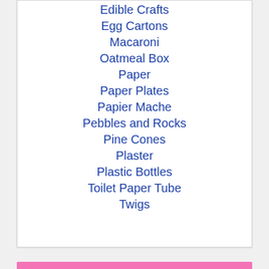Edible Crafts
Egg Cartons
Macaroni
Oatmeal Box
Paper
Paper Plates
Papier Mache
Pebbles and Rocks
Pine Cones
Plaster
Plastic Bottles
Toilet Paper Tube
Twigs